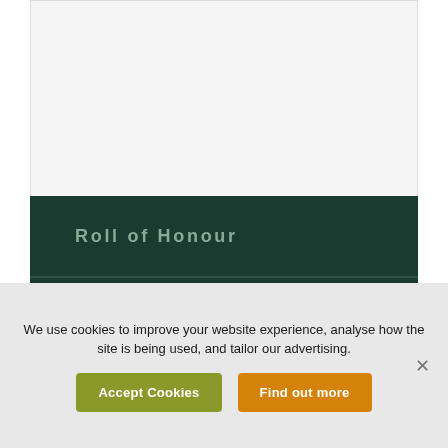[Figure (other): Light grey blank content area at top of page]
Roll of Honour
Benevolence
Military Efficiency
We use cookies to improve your website experience, analyse how the site is being used, and tailor our advertising.
Accept Cookies
Find out more